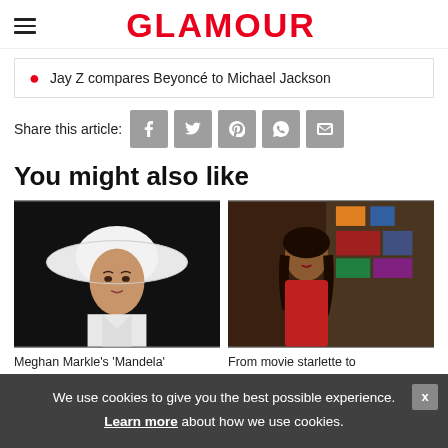GLAMOUR
Jay Z compares Beyoncé to Michael Jackson
Share this article:
You might also like
[Figure (photo): Woman wearing a wide-brimmed white hat (Meghan Markle)]
[Figure (photo): Young woman in red top, colorful background (movie starlette)]
Meghan Markle's 'Mandela'
From movie starlette to
We use cookies to give you the best possible experience. Learn more about how we use cookies.